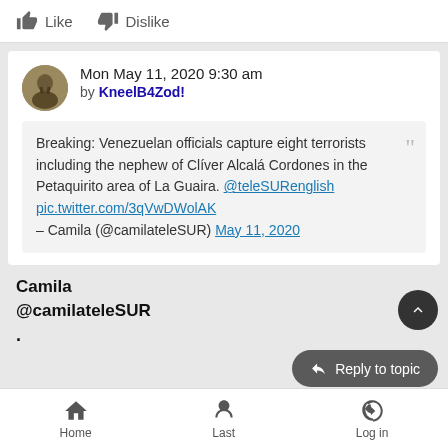[Figure (screenshot): Like and Dislike buttons with thumb icons]
Mon May 11, 2020 9:30 am
by KneelB4Zod!
Breaking: Venezuelan officials capture eight terrorists including the nephew of Clíver Alcalá Cordones in the Petaquirito area of La Guaira. @teleSURenglish pic.twitter.com/3qVwDWolAK – Camila (@camilateleSUR) May 11, 2020
Camila
@camilateleSUR
.
Home  Last  Log in